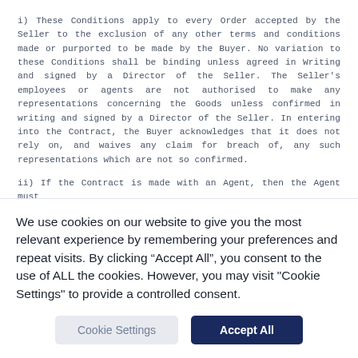i) These Conditions apply to every Order accepted by the Seller to the exclusion of any other terms and conditions made or purported to be made by the Buyer. No variation to these Conditions shall be binding unless agreed in Writing and signed by a Director of the Seller. The Seller's employees or agents are not authorised to make any representations concerning the Goods unless confirmed in writing and signed by a Director of the Seller. In entering into the Contract, the Buyer acknowledges that it does not rely on, and waives any claim for breach of, any such representations which are not so confirmed.
ii) If the Contract is made with an Agent, then the Agent must [text cut off]
We use cookies on our website to give you the most relevant experience by remembering your preferences and repeat visits. By clicking “Accept All”, you consent to the use of ALL the cookies. However, you may visit "Cookie Settings" to provide a controlled consent.